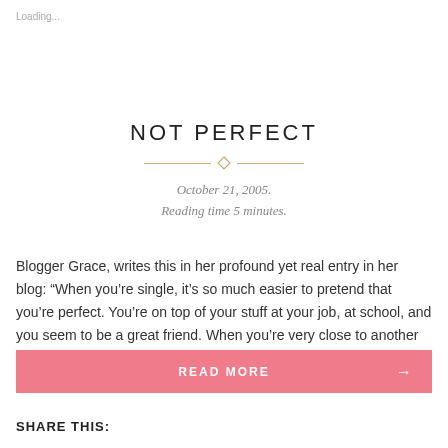Loading...
NOT PERFECT
October 21, 2005.
Reading time 5 minutes.
Blogger Grace, writes this in her profound yet real entry in her blog: “When you’re single, it’s so much easier to pretend that you’re perfect. You’re on top of your stuff at your job, at school, and you seem to be a great friend. When you’re very close to another person, he/she sees everything — […]
READ MORE →
SHARE THIS: